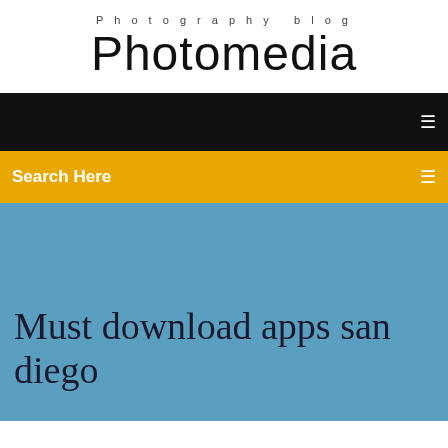Photography blog
Photomedia
Search Here
Must download apps san diego